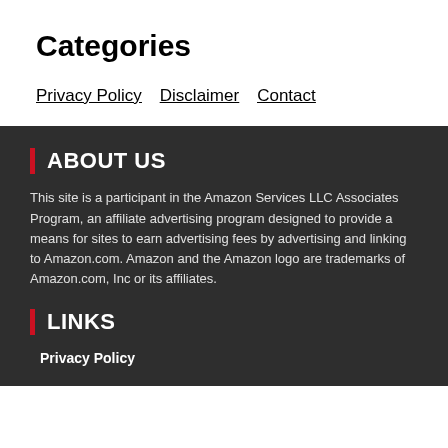Categories
Privacy Policy
Disclaimer
Contact
ABOUT US
This site is a participant in the Amazon Services LLC Associates Program, an affiliate advertising program designed to provide a means for sites to earn advertising fees by advertising and linking to Amazon.com. Amazon and the Amazon logo are trademarks of Amazon.com, Inc or its affiliates.
LINKS
Privacy Policy